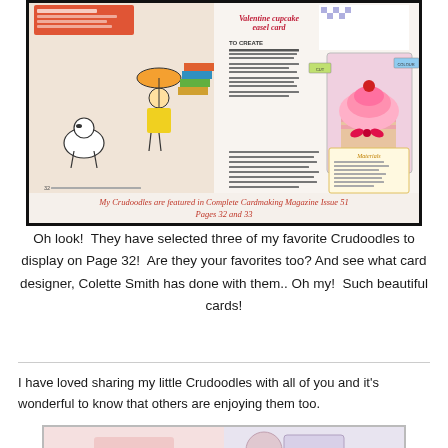[Figure (photo): Scan of a Complete Cardmaking Magazine spread (Issue 51, Pages 32 and 33) showing Crudoodles characters and a Valentine cupcake easel card tutorial, with a handwritten-style caption in red italic text reading 'My Crudoodles are featured in Complete Cardmaking Magazine Issue 51 Pages 32 and 33']
Oh look!  They have selected three of my favorite Crudoodles to display on Page 32!  Are they your favorites too? And see what card designer, Colette Smith has done with them.. Oh my!  Such beautiful cards!
I have loved sharing my little Crudoodles with all of you and it's wonderful to know that others are enjoying them too.
[Figure (photo): Partial bottom image, partially cut off, showing crafting/card related content]